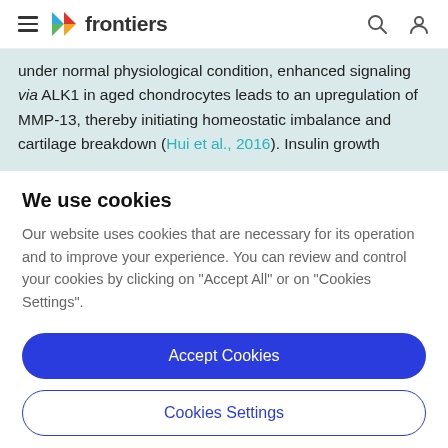frontiers (navigation bar with hamburger menu, logo, search and user icons)
under normal physiological condition, enhanced signaling via ALK1 in aged chondrocytes leads to an upregulation of MMP-13, thereby initiating homeostatic imbalance and cartilage breakdown (Hui et al., 2016). Insulin growth
We use cookies
Our website uses cookies that are necessary for its operation and to improve your experience. You can review and control your cookies by clicking on "Accept All" or on "Cookies Settings".
Accept Cookies
Cookies Settings